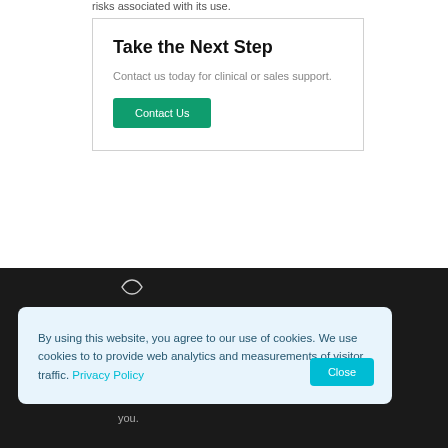risks associated with its use.
Take the Next Step
Contact us today for clinical or sales support.
Contact Us
By using this website, you agree to our use of cookies. We use cookies to to provide web analytics and measurements of visitor traffic. Privacy Policy
Close
you.